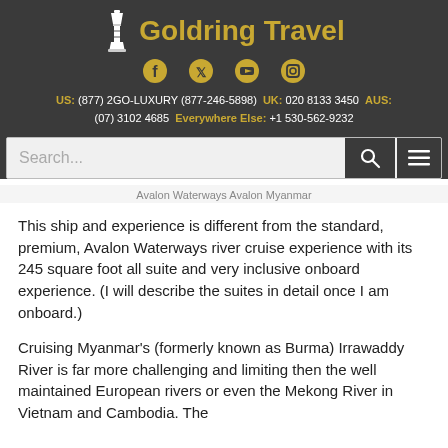Goldring Travel
US: (877) 2GO-LUXURY (877-246-5898)  UK: 020 8133 3450  AUS: (07) 3102 4685  Everywhere Else: +1 530-562-9232
Avalon Waterways Avalon Myanmar
This ship and experience is different from the standard, premium, Avalon Waterways river cruise experience with its 245 square foot all suite and very inclusive onboard experience.  (I will describe the suites in detail once I am onboard.)
Cruising Myanmar's (formerly known as Burma) Irrawaddy River is far more challenging and limiting then the well maintained European rivers or even the Mekong River in Vietnam and Cambodia. The